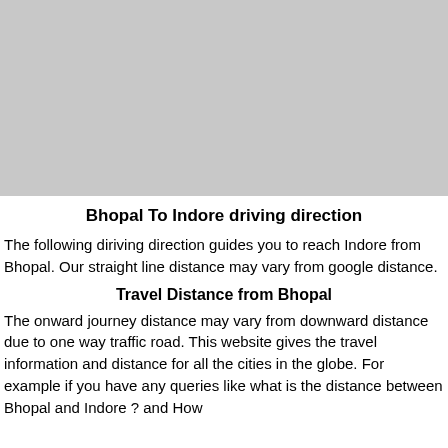[Figure (map): A grey placeholder rectangle representing a map image showing the driving route from Bhopal to Indore.]
Bhopal To Indore driving direction
The following diriving direction guides you to reach Indore from Bhopal. Our straight line distance may vary from google distance.
Travel Distance from Bhopal
The onward journey distance may vary from downward distance due to one way traffic road. This website gives the travel information and distance for all the cities in the globe. For example if you have any queries like what is the distance between Bhopal and Indore ? and How